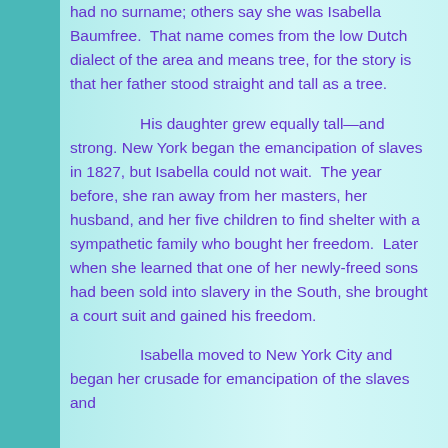had no surname; others say she was Isabella Baumfree.  That name comes from the low Dutch dialect of the area and means tree, for the story is that her father stood straight and tall as a tree.

His daughter grew equally tall—and strong.  New York began the emancipation of slaves in 1827, but Isabella could not wait.  The year before, she ran away from her masters, her husband, and her five children to find shelter with a sympathetic family who bought her freedom.  Later when she learned that one of her newly-freed sons had been sold into slavery in the South, she brought a court suit and gained his freedom.

Isabella moved to New York City and began her crusade for emancipation of the slaves and